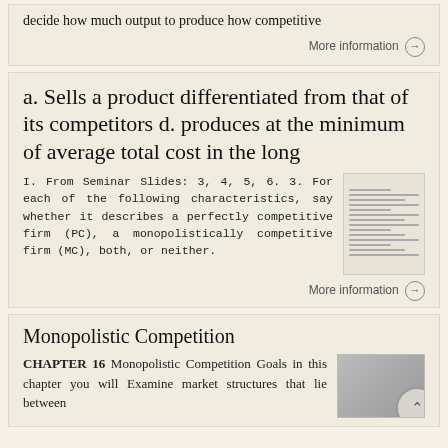decide how much output to produce how competitive
More information →
a. Sells a product differentiated from that of its competitors d. produces at the minimum of average total cost in the long
I. From Seminar Slides: 3, 4, 5, 6. 3. For each of the following characteristics, say whether it describes a perfectly competitive firm (PC), a monopolistically competitive firm (MC), both, or neither.
[Figure (screenshot): Thumbnail image of a document page with text lines]
More information →
Monopolistic Competition
CHAPTER 16 Monopolistic Competition Goals in this chapter you will Examine market structures that lie between
[Figure (screenshot): Thumbnail image of a document with a back-to-top arrow circle button]